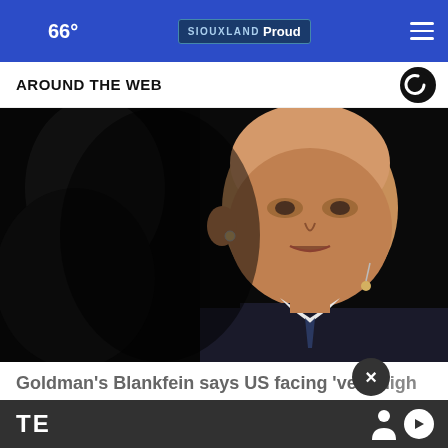66° — SIOUXLAND Proud
AROUND THE WEB
[Figure (photo): Close-up photo of Lloyd Blankfein, CEO of Goldman Sachs, against a dark background, wearing a dark suit and tie with a microphone earpiece]
Goldman's Blankfein says US facing 'very high'